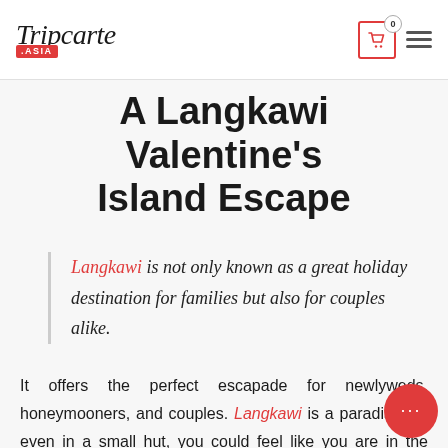Tripcarte .ASIA
A Langkawi Valentine's Island Escape
Langkawi is not only known as a great holiday destination for families but also for couples alike.
It offers the perfect escapade for newlyweds, honeymooners, and couples. Langkawi is a paradise, so even in a small hut, you could feel like you are in the most romantic place on